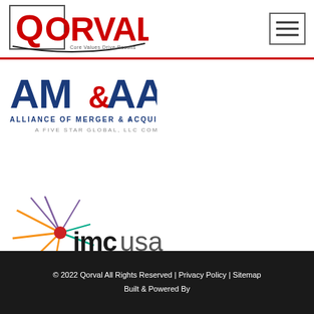[Figure (logo): Qorval logo with tagline 'Core Values Drive Results' and hamburger menu icon]
[Figure (logo): AM&AA - Alliance of Merger & Acquisition Advisors, A Five Star Global, LLC Company logo]
[Figure (logo): IMC USA - Institute of Management Consultants logo with starburst graphic]
© 2022 Qorval All Rights Reserved | Privacy Policy | Sitemap
Built & Powered By